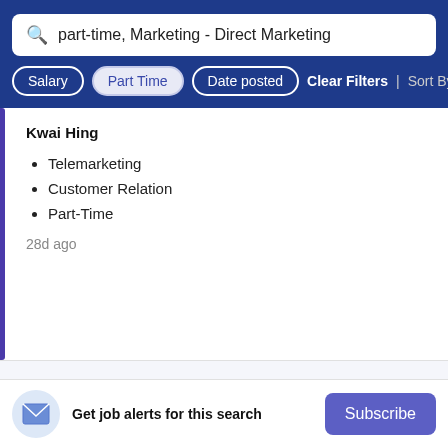part-time, Marketing - Direct Marketing
Salary | Part Time | Date posted | Clear Filters | Sort By Rele
Kwai Hing
Telemarketing
Customer Relation
Part-Time
28d ago
Receptionist (Full time or Part time)
Diestel & Partners (Dental Surgeons) Limited
Get job alerts for this search